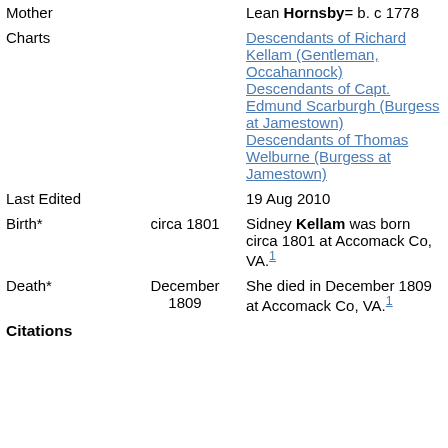| Field | Date | Details |
| --- | --- | --- |
| Mother |  | Lean Hornsby= b. c 1778 |
| Charts |  | Descendants of Richard Kellam (Gentleman, Occahannock) Descendants of Capt. Edmund Scarburgh (Burgess at Jamestown) Descendants of Thomas Welburne (Burgess at Jamestown) |
| Last Edited |  | 19 Aug 2010 |
| Birth* | circa 1801 | Sidney Kellam was born circa 1801 at Accomack Co, VA.1 |
| Death* | December 1809 | She died in December 1809 at Accomack Co, VA.1 |
| Citations |  |  |